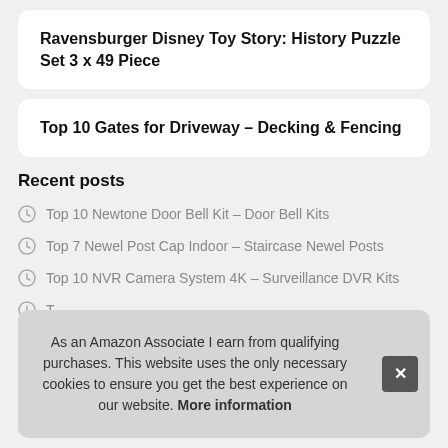Ravensburger Disney Toy Story: History Puzzle Set 3 x 49 Piece
Top 10 Gates for Driveway – Decking & Fencing
Recent posts
Top 10 Newtone Door Bell Kit – Door Bell Kits
Top 7 Newel Post Cap Indoor – Staircase Newel Posts
Top 10 NVR Camera System 4K – Surveillance DVR Kits
T
T
T
As an Amazon Associate I earn from qualifying purchases. This website uses the only necessary cookies to ensure you get the best experience on our website. More information